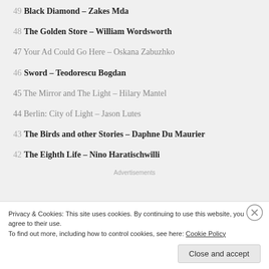49 Black Diamond – Zakes Mda
48 The Golden Store – William Wordsworth
47 Your Ad Could Go Here – Oskana Zabuzhko
46 Sword – Teodorescu Bogdan
45 The Mirror and The Light – Hilary Mantel
44 Berlin: City of Light – Jason Lutes
43 The Birds and other Stories – Daphne Du Maurier
42 The Eighth Life – Nino Haratischwilli
Advertisements
Privacy & Cookies: This site uses cookies. By continuing to use this website, you agree to their use.
To find out more, including how to control cookies, see here: Cookie Policy
Close and accept